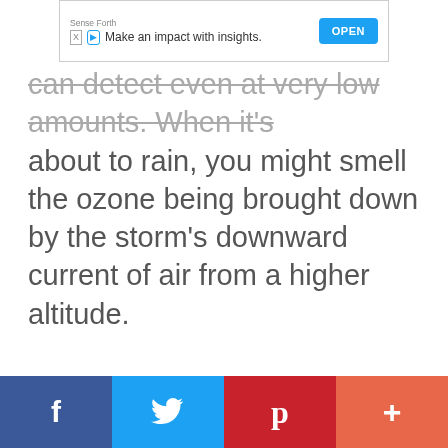[Figure (other): Advertisement banner: Sense Forth logo with tagline 'Make an impact with insights.' and OPEN button]
can detect even at very low amounts. When it's about to rain, you might smell the ozone being brought down by the storm's downward current of air from a higher altitude.
[Figure (other): Social sharing bar with Facebook, Twitter, Pinterest, and More (+) buttons]